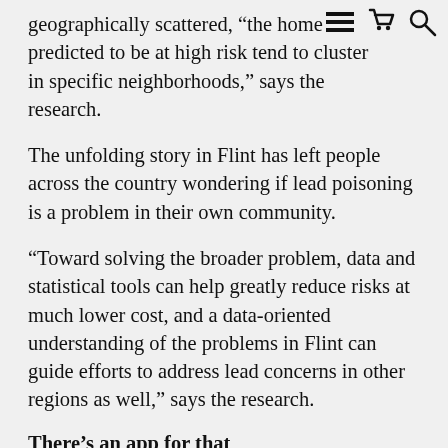geographically scattered, “the home predicted to be at high risk tend to cluster in specific neighborhoods,” says the research.
The unfolding story in Flint has left people across the country wondering if lead poisoning is a problem in their own community.
“Toward solving the broader problem, data and statistical tools can help greatly reduce risks at much lower cost, and a data-oriented understanding of the problems in Flint can guide efforts to address lead concerns in other regions as well,” says the research.
There’s an app for that
Considering the approach taken by the research, it should not be a surprise that a $250,000 donation from Google.org, the company’s charitable arm, helped